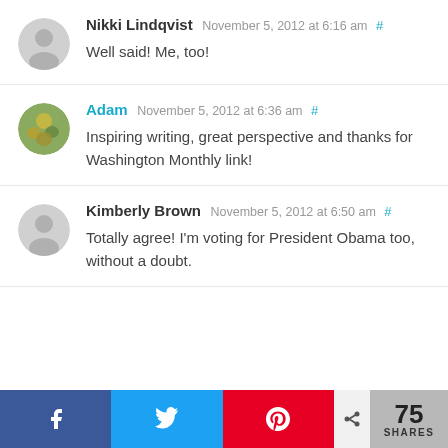Nikki Lindqvist November 5, 2012 at 6:16 am #
Well said! Me, too!
Adam November 5, 2012 at 6:36 am #
Inspiring writing, great perspective and thanks for Washington Monthly link!
Kimberly Brown November 5, 2012 at 6:50 am #
Totally agree! I'm voting for President Obama too, without a doubt.
75 SHARES